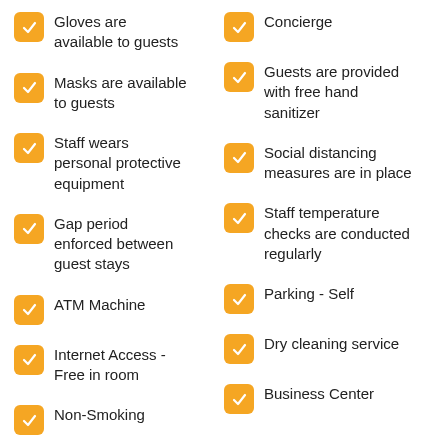Gloves are available to guests
Concierge
Masks are available to guests
Guests are provided with free hand sanitizer
Staff wears personal protective equipment
Social distancing measures are in place
Gap period enforced between guest stays
Staff temperature checks are conducted regularly
ATM Machine
Parking - Self
Internet Access - Free in room
Dry cleaning service
Non-Smoking
Business Center